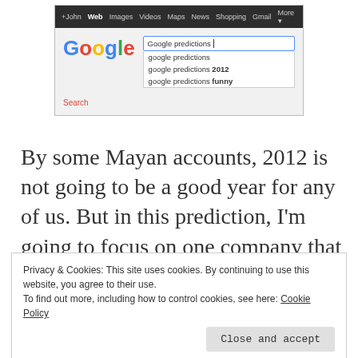[Figure (screenshot): Screenshot of a Google search page showing the query 'Google predictions' with autocomplete suggestions: 'google predictions', 'google predictions 2012', 'google predictions funny'. Navigation bar shows +John, Web, Images, Videos, Maps, News, Shopping, Gmail, More. A 'Search' button is visible.]
By some Mayan accounts, 2012 is not going to be a good year for any of us. But in this prediction, I'm going to focus on one company that will have a pretty crazy year: Google.
Privacy & Cookies: This site uses cookies. By continuing to use this website, you agree to their use.
To find out more, including how to control cookies, see here: Cookie Policy
Close and accept